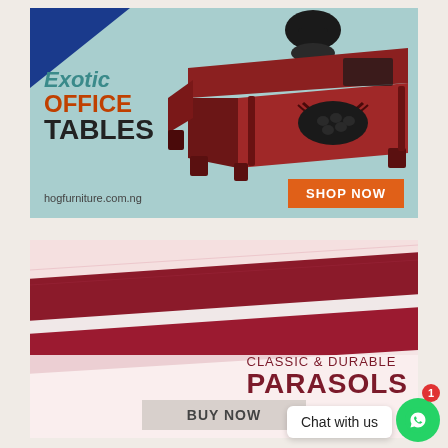[Figure (infographic): Advertisement for Exotic Office Tables by hogfurniture.com.ng, featuring a large mahogany L-shaped executive desk with leather chair, blue triangle top-left, teal background, orange 'SHOP NOW' button]
[Figure (infographic): Advertisement for Classic & Durable Parasols showing close-up of crimson and white striped fabric parasol material, with 'BUY NOW' button and WhatsApp chat widget]